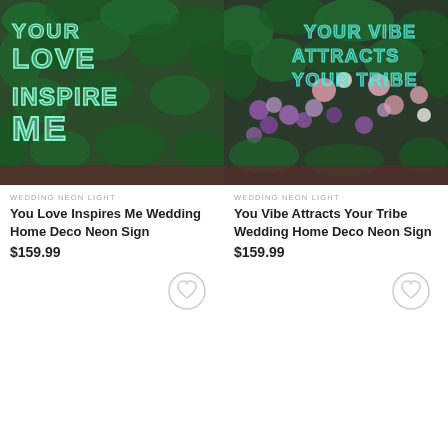[Figure (photo): Neon sign on green plant wall reading YOUR LOVE INSPIRE ME in white/cyan neon letters]
[Figure (photo): Neon sign on floral wall reading YOUR VIBE ATTRACTS YOUR TRIBE in teal neon letters with flowers and greenery]
WEDDING NEON LIGHT
You Love Inspires Me Wedding Home Deco Neon Sign
$159.99
WEDDING NEON LIGHT
You Vibe Attracts Your Tribe Wedding Home Deco Neon Sign
$159.99